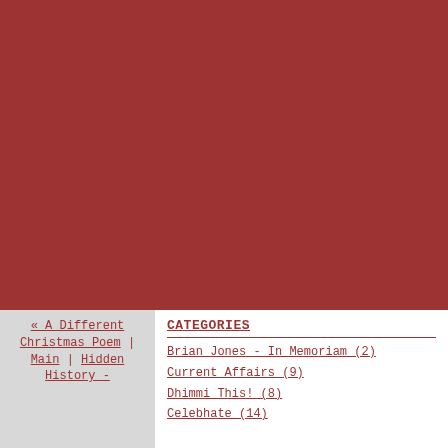[Figure (other): Large dark red/maroon rectangular banner covering the top portion of the page]
« A Different Christmas Poem | Main | Hidden History -
CATEGORIES
Brian Jones - In Memoriam (2)
Current Affairs (9)
Dhimmi This! (8)
Celebhate (14)